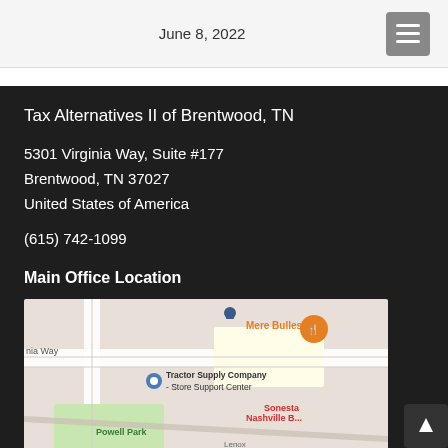June 8, 2022
Tax Alternatives II of Brentwood, TN
5301 Virginia Way, Suite #177
Brentwood, TN 37027
United States of America
(615) 742-1099
Main Office Location
[Figure (map): Google Maps embed showing the area around 5301 Virginia Way, Brentwood TN, with markers for Tractor Supply Company Store Support Center, Mere Bulles restaurant (orange pin), and Powell Park nearby. Streets include Virginia Way and Lenox.]